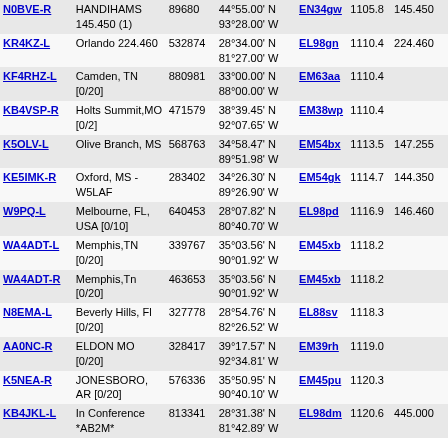| Callsign | Location | ID | Coordinates | Grid | Dist | Freq |
| --- | --- | --- | --- | --- | --- | --- |
| N0BVE-R | HANDIHAMS 145.450 (1) | 89680 | 44°55.00' N 93°28.00' W | EN34gw | 1105.8 | 145.450 |
| KR4KZ-L | Orlando 224.460 | 532874 | 28°34.00' N 81°27.00' W | EL98gn | 1110.4 | 224.460 |
| KF4RHZ-L | Camden, TN [0/20] | 880981 | 33°00.00' N 88°00.00' W | EM63aa | 1110.4 |  |
| KB4VSP-R | Holts Summit,MO [0/2] | 471579 | 38°39.45' N 92°07.65' W | EM38wp | 1110.4 |  |
| K5OLV-L | Olive Branch, MS | 568763 | 34°58.47' N 89°51.98' W | EM54bx | 1113.5 | 147.255 |
| KE5IMK-R | Oxford, MS - W5LAF | 283402 | 34°26.30' N 89°26.90' W | EM54gk | 1114.7 | 144.350 |
| W9PQ-L | Melbourne, FL, USA [0/10] | 640453 | 28°07.82' N 80°40.70' W | EL98pd | 1116.9 | 146.460 |
| WA4ADT-L | Memphis,TN [0/20] | 339767 | 35°03.56' N 90°01.92' W | EM45xb | 1118.2 |  |
| WA4ADT-R | Memphis,Tn [0/20] | 463653 | 35°03.56' N 90°01.92' W | EM45xb | 1118.2 |  |
| N8EMA-L | Beverly Hills, Fl [0/20] | 327778 | 28°54.76' N 82°26.52' W | EL88sv | 1118.3 |  |
| AA0NC-R | ELDON MO [0/20] | 328417 | 39°17.57' N 92°34.81' W | EM39rh | 1119.0 |  |
| K5NEA-R | JONESBORO, AR [0/20] | 576336 | 35°50.95' N 90°40.10' W | EM45pu | 1120.3 |  |
| KB4JKL-L | In Conference *AB2M* | 813341 | 28°31.38' N 81°42.89' W | EL98dm | 1120.6 | 445.000 |